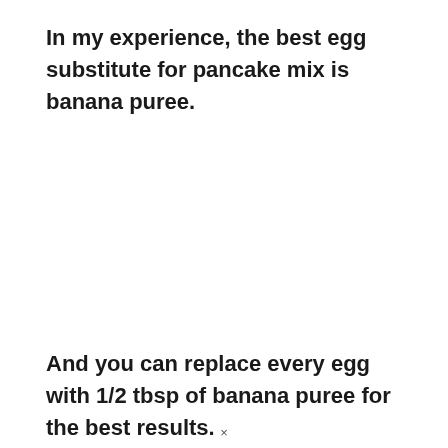In my experience, the best egg substitute for pancake mix is banana puree.
And you can replace every egg with 1/2 tbsp of banana puree for the best results.
×